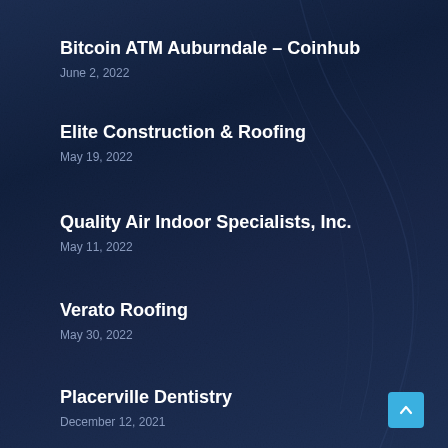Bitcoin ATM Auburndale – Coinhub
June 2, 2022
Elite Construction & Roofing
May 19, 2022
Quality Air Indoor Specialists, Inc.
May 11, 2022
Verato Roofing
May 30, 2022
Placerville Dentistry
December 12, 2021